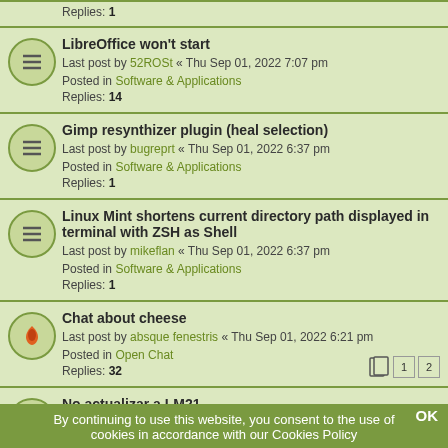Replies: 1
LibreOffice won't start
Last post by 52ROSt « Thu Sep 01, 2022 7:07 pm
Posted in Software & Applications
Replies: 14
Gimp resynthizer plugin (heal selection)
Last post by bugreprt « Thu Sep 01, 2022 6:37 pm
Posted in Software & Applications
Replies: 1
Linux Mint shortens current directory path displayed in terminal with ZSH as Shell
Last post by mikeflan « Thu Sep 01, 2022 6:37 pm
Posted in Software & Applications
Replies: 1
Chat about cheese
Last post by absque fenestris « Thu Sep 01, 2022 6:21 pm
Posted in Open Chat
Replies: 32
No actualizar a LM21
Last post by Popopo « Thu Sep 01, 2022 6:03 pm
Posted in Español - Spanish
Replies: 2
I am buying that which i dont want WINDOWS
Last post by antikythera « Thu Sep 01, 2022 5:59 pm
Posted in Open Chat
Replies: 8
By continuing to use this website, you consent to the use of cookies in accordance with our Cookies Policy